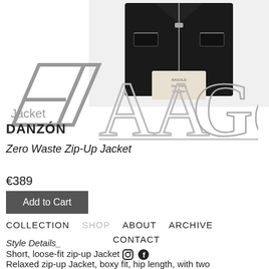[Figure (photo): Product photo of a black zip-up jacket on a white background, with a light colored clutch bag accessory]
[Figure (logo): AAGold brand logo with geometric angular 'A' shape in gray outline and stylized 'AAGold' text]
Jacket
DANZÓN
Zero Waste Zip-Up Jacket
€389
Add to Cart
COLLECTION   SHOP   ABOUT   ARCHIVE   CONTACT
Style Details_
Short, loose-fit zip-up Jacket
Relaxed zip-up Jacket, boxy fit, hip length, with two